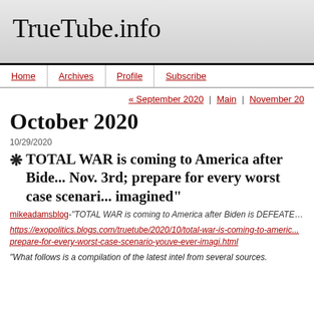TrueTube.info
Home | Archives | Profile | Subscribe
« September 2020 | Main | November 20
October 2020
10/29/2020
❋ TOTAL WAR is coming to America after Bide... Nov. 3rd; prepare for every worst case scenario... imagined"
mikeadamsblog-"TOTAL WAR is coming to America after Biden is DEFEATE... case scenario you've ever imagined"
https://exopolitics.blogs.com/truetube/2020/10/total-war-is-coming-to-americ... prepare-for-every-worst-case-scenario-youve-ever-imagi.html
"What follows is a compilation of the latest intel from several sources.